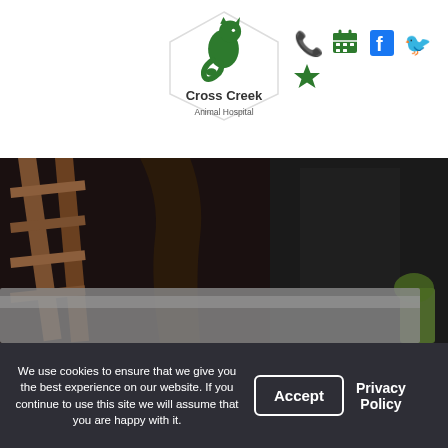[Figure (logo): Cross Creek Animal Hospital logo inside a hexagon shape with a green cat/animal illustration, text reads Cross Creek Animal Hospital]
[Figure (illustration): Social media and contact icons: phone (green), calendar (green), Facebook (blue f), Twitter (blue bird), and a green star icon]
[Figure (photo): Interior photo showing wooden furniture/ladder, dark curtains, grey fabric/cushion, and a plant in the background]
We use cookies to ensure that we give you the best experience on our website. If you continue to use this site we will assume that you are happy with it.
Accept
Privacy Policy